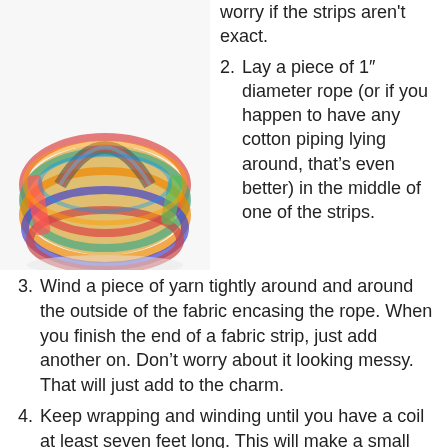[Figure (photo): A colorful handmade fabric basket with a handle, made from multicolored fabric strips wound around rope, sitting on a white surface.]
worry if the strips aren't exact.
Lay a piece of 1″ diameter rope (or if you happen to have any cotton piping lying around, that's even better) in the middle of one of the strips.
Wind a piece of yarn tightly around and around the outside of the fabric encasing the rope. When you finish the end of a fabric strip, just add another on. Don't worry about it looking messy. That will just add to the charm.
Keep wrapping and winding until you have a coil at least seven feet long. This will make a small basket. If you want a bigger one, double the length of the strips.